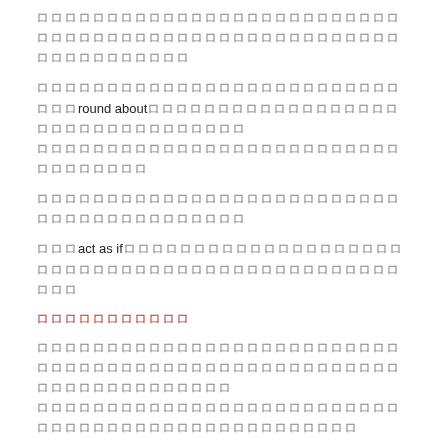（CJK text）round about（CJK text）
（CJK text paragraph）
（CJK）act as if（CJK text）
（CJK section header in red）
（CJK text paragraph）
（CJK text paragraph）
Synthesis Essay（CJK）Synthesis Essay（CJK）（CJK）（CJK）